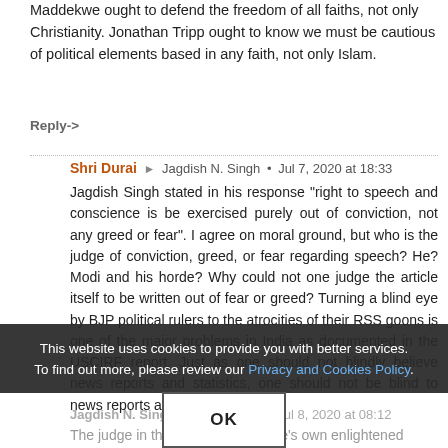Maddekwe ought to defend the freedom of all faiths, not only Christianity. Jonathan Tripp ought to know we must be cautious of political elements based in any faith, not only Islam.
Reply->
Shri Durai → Jagdish N. Singh • Jul 7, 2020 at 18:33
Jagdish Singh stated in his response "right to speech and conscience is be exercised purely out of conviction, not any greed or fear". I agree on moral ground, but who is the judge of conviction, greed, or fear regarding speech? He? Modi and his horde? Why could not one judge the article itself to be written out of fear or greed? Turning a blind eye by BJP political rulers to the atrocities of their RSS goons is one of the major problems in India as documented in the USCIRF report. Just as one should not blindly believe news reports and statistics, one should not be blind to news reports and statistics.
This website uses cookies to provide you with better services. To find out more, please review our Privacy and Cookies Policy.
OK
Jagdish N. Singh → Shri Durai • Jul 8, 2020 at 08:12
The judge in the case could be one's own enlightened